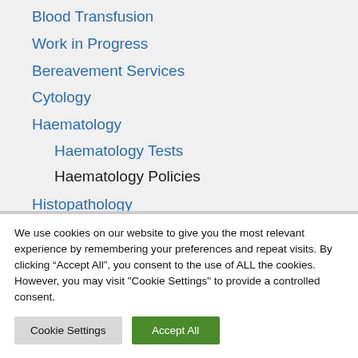Blood Transfusion
Work in Progress
Bereavement Services
Cytology
Haematology
Haematology Tests
Haematology Policies
Histopathology
Microbiology
We use cookies on our website to give you the most relevant experience by remembering your preferences and repeat visits. By clicking “Accept All”, you consent to the use of ALL the cookies. However, you may visit "Cookie Settings" to provide a controlled consent.